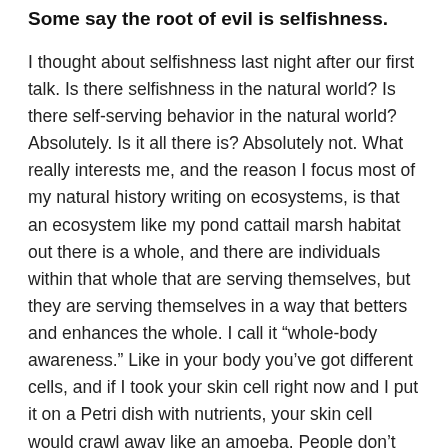Some say the root of evil is selfishness.
I thought about selfishness last night after our first talk. Is there selfishness in the natural world? Is there self-serving behavior in the natural world? Absolutely. Is it all there is? Absolutely not. What really interests me, and the reason I focus most of my natural history writing on ecosystems, is that an ecosystem like my pond cattail marsh habitat out there is a whole, and there are individuals within that whole that are serving themselves, but they are serving themselves in a way that betters and enhances the whole. I call it “whole-body awareness.” Like in your body you’ve got different cells, and if I took your skin cell right now and I put it on a Petri dish with nutrients, your skin cell would crawl away like an amoeba. People don’t know this. But it would crawl away. If you gave it food, it would crawl toward food and eat food. We have 30